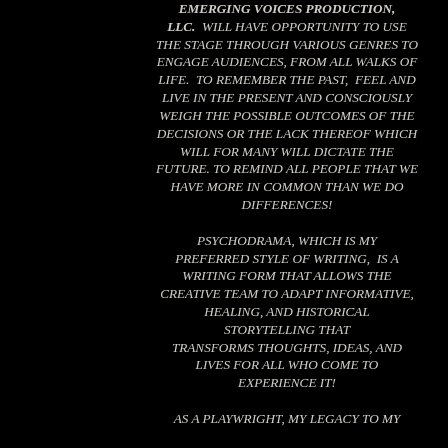EMERGING VOICES PRODUCTION, LLC. WILL HAVE OPPORTUNITY TO USE THE STAGE THROUGH VARIOUS GENRES TO ENGAGE AUDIENCES, FROM ALL WALKS OF LIFE. TO REMEMBER THE PAST, FEEL AND LIVE IN THE PRESENT AND CONSCIOUSLY WEIGH THE POSSIBLE OUTCOMES OF THE DECISIONS OR THE LACK THEREOF WHICH WILL FOR MANY WILL DICTATE THE FUTURE. TO REMIND ALL PEOPLE THAT WE HAVE MORE IN COMMON THAN WE DO DIFFERENCES!
PSYCHODRAMA, WHICH IS MY PREFERRED STYLE OF WRITING, IS A WRITING FORM THAT ALLOWS THE CREATIVE TEAM TO ADAPT INFORMATIVE, HEALING, AND HISTORICAL STORYTELLING THAT TRANSFORMS THOUGHTS, IDEAS, AND LIVES FOR ALL WHO COME TO EXPERIENCE IT!
AS A PLAYWRIGHT, MY LEGACY TO MY